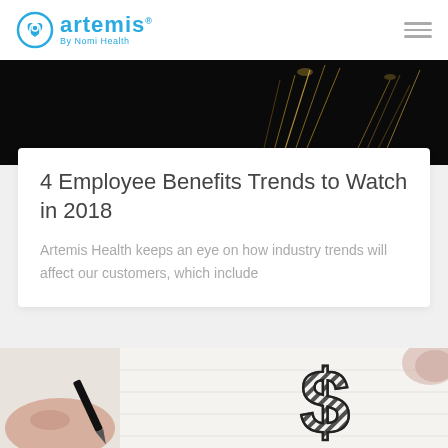artemis By Nomi Health
[Figure (photo): Dark background photo showing sparkler/firework light trails against black sky]
4 Employee Benefits Trends to Watch in 2018
Artemis Health keeps an eye on how industry trends will affect our customers, which include
[Figure (photo): Photo of a hand holding a pen writing on a notebook, with a drawn dollar sign symbol visible]